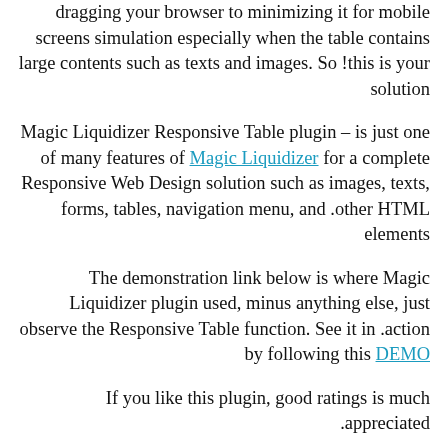dragging your browser to minimizing it for mobile screens simulation especially when the table contains large contents such as texts and images. So !this is your solution
Magic Liquidizer Responsive Table plugin – is just one of many features of Magic Liquidizer for a complete Responsive Web Design solution such as images, texts, forms, tables, navigation menu, and .other HTML elements
The demonstration link below is where Magic Liquidizer plugin used, minus anything else, just observe the Responsive Table function. See it in .action by following this DEMO
If you like this plugin, good ratings is much .appreciated
For more information kindly check